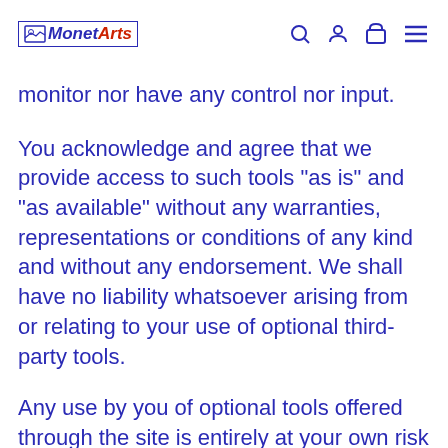Monet Arts
monitor nor have any control nor input.
You acknowledge and agree that we provide access to such tools "as is" and “as available” without any warranties, representations or conditions of any kind and without any endorsement. We shall have no liability whatsoever arising from or relating to your use of optional third-party tools.
Any use by you of optional tools offered through the site is entirely at your own risk and discretion and you should ensure that you are familiar with and approve of the terms on which tools are provided by the relevant third-party provider(s).